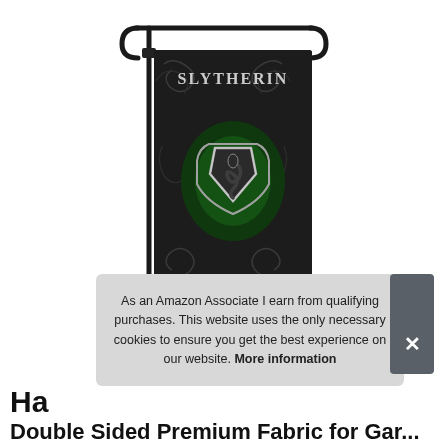[Figure (photo): A Slytherin Harry Potter garden flag displayed on a metal flag pole stand. The flag is black with silver and green decorative motifs, featuring the Slytherin house crest (a snake inside a shield) with green glowing effect and the word SLYTHERIN in gothic lettering at the top.]
As an Amazon Associate I earn from qualifying purchases. This website uses the only necessary cookies to ensure you get the best experience on our website. More information
Ha
Double Sided Premium Fabric for Gar...